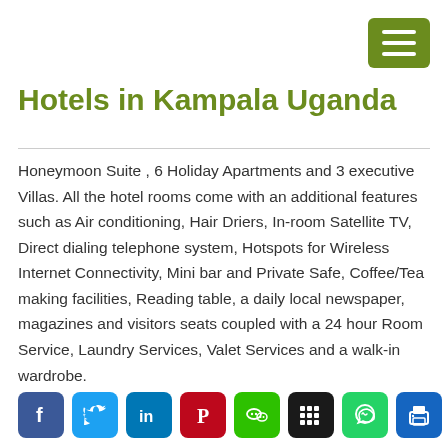[Figure (other): Green hamburger menu button in top right corner]
Hotels in Kampala Uganda
Honeymoon Suite , 6 Holiday Apartments and 3 executive Villas. All the hotel rooms come with an additional features such as Air conditioning, Hair Driers, In-room Satellite TV, Direct dialing telephone system, Hotspots for Wireless Internet Connectivity, Mini bar and Private Safe, Coffee/Tea making facilities, Reading table, a daily local newspaper, magazines and visitors seats coupled with a 24 hour Room Service, Laundry Services, Valet Services and a walk-in wardrobe.
[Figure (other): Row of social media icon buttons: Facebook, Twitter, LinkedIn, Pinterest, WeChat, Blackberry, WhatsApp, Print]